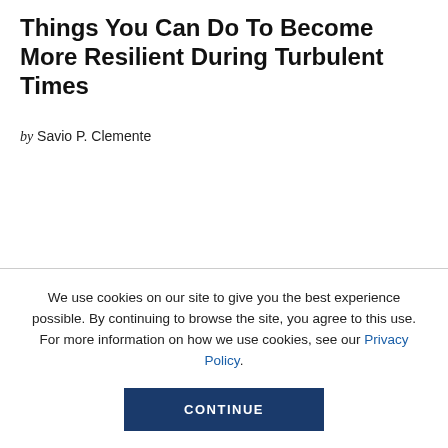Things You Can Do To Become More Resilient During Turbulent Times
by Savio P. Clemente
We use cookies on our site to give you the best experience possible. By continuing to browse the site, you agree to this use. For more information on how we use cookies, see our Privacy Policy.
CONTINUE